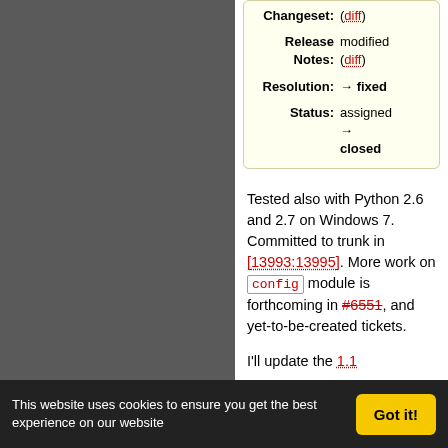| Changeset: | (diff) |
| Release Notes: | modified (diff) |
| Resolution: | → fixed |
| Status: | assigned → closed |
Tested also with Python 2.6 and 2.7 on Windows 7. Committed to trunk in [13993:13995]. More work on config module is forthcoming in #6551, and yet-to-be-created tickets.
I'll update the 1.1 documentation soon to remove
This website uses cookies to ensure you get the best experience on our website